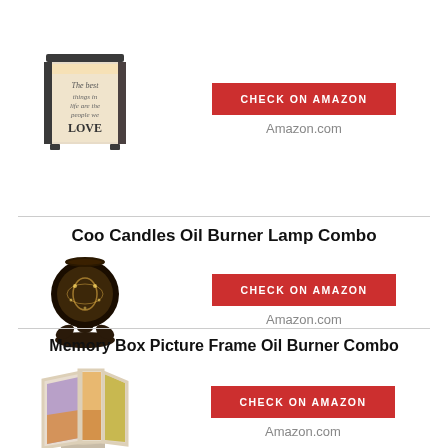[Figure (photo): Decorative lantern-style wax warmer with 'The best things in life are the people we LOVE' text on illuminated panels, dark metal frame]
CHECK ON AMAZON
Amazon.com
Coo Candles Oil Burner Lamp Combo
[Figure (photo): Dark spherical metal oil burner with decorative cutouts and a stand base, glowing from inside]
CHECK ON AMAZON
Amazon.com
Memory Box Picture Frame Oil Burner Combo
[Figure (photo): White rotating cube-shaped photo frame oil burner with colorful images on its panels, on a cylindrical base]
CHECK ON AMAZON
Amazon.com